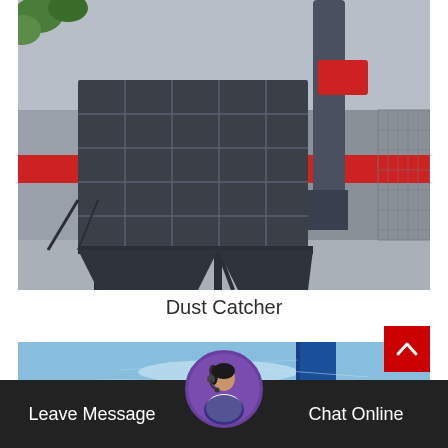[Figure (photo): Outdoor industrial dust catcher / dust collector unit mounted on the exterior of a factory building. The large dark grey metal filter housing with grid panels is visible, with support scaffolding and a large cylindrical exhaust stack. The building has red accent stripes. Some green foliage visible at top left.]
Dust Catcher
[Figure (photo): Partial view of another industrial installation against a blue sky, showing a tall blue cylindrical stack or pipe structure with industrial equipment.]
Leave Message
Chat Online